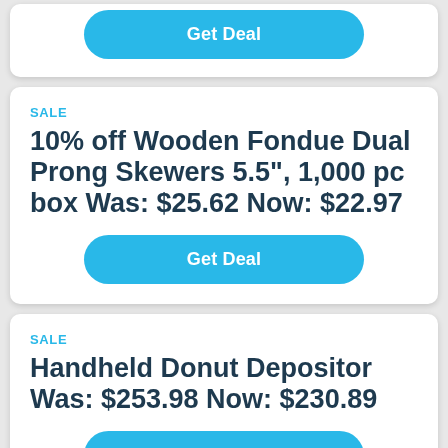Get Deal
SALE
10% off Wooden Fondue Dual Prong Skewers 5.5", 1,000 pc box Was: $25.62 Now: $22.97
Get Deal
SALE
Handheld Donut Depositor Was: $253.98 Now: $230.89
Get Deal